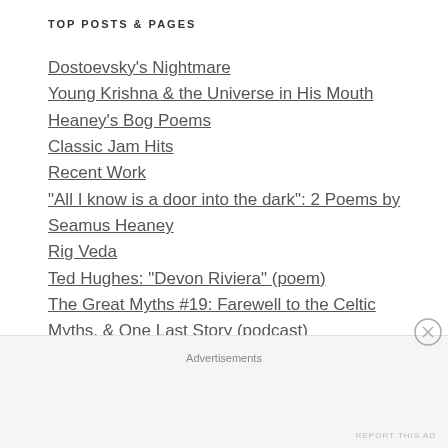TOP POSTS & PAGES
Dostoevsky's Nightmare
Young Krishna & the Universe in His Mouth
Heaney's Bog Poems
Classic Jam Hits
Recent Work
"All I know is a door into the dark": 2 Poems by Seamus Heaney
Rig Veda
Ted Hughes: "Devon Riviera" (poem)
The Great Myths #19: Farewell to the Celtic Myths, & One Last Story (podcast)
The Desert Fathers (Favorite Passages)
Advertisements
REPORT THIS AD